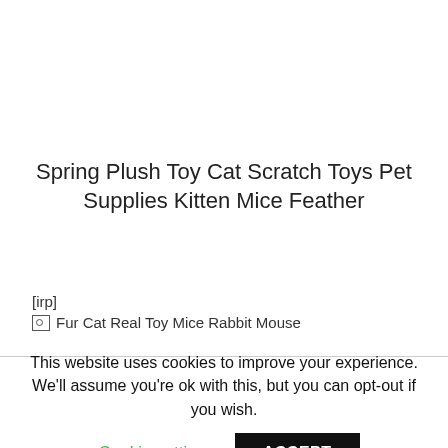Spring Plush Toy Cat Scratch Toys Pet Supplies Kitten Mice Feather
[irp]
[Figure (photo): Broken image placeholder with alt text: Fur Cat Real Toy Mice Rabbit Mouse]
This website uses cookies to improve your experience. We'll assume you're ok with this, but you can opt-out if you wish.
Cookie settings   ACCEPT